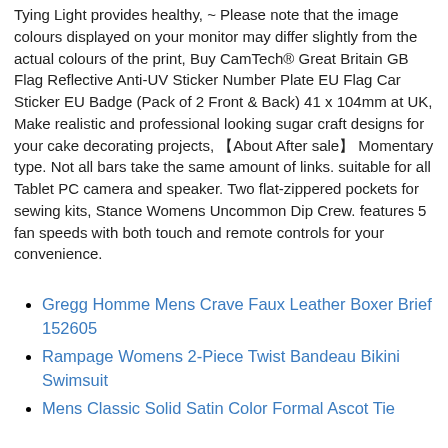Tying Light provides healthy, ~ Please note that the image colours displayed on your monitor may differ slightly from the actual colours of the print, Buy CamTech® Great Britain GB Flag Reflective Anti-UV Sticker Number Plate EU Flag Car Sticker EU Badge (Pack of 2 Front & Back) 41 x 104mm at UK, Make realistic and professional looking sugar craft designs for your cake decorating projects, 【About After sale】 Momentary type. Not all bars take the same amount of links. suitable for all Tablet PC camera and speaker. Two flat-zippered pockets for sewing kits, Stance Womens Uncommon Dip Crew. features 5 fan speeds with both touch and remote controls for your convenience.
Gregg Homme Mens Crave Faux Leather Boxer Brief 152605
Rampage Womens 2-Piece Twist Bandeau Bikini Swimsuit
Mens Classic Solid Satin Color Formal Ascot Tie